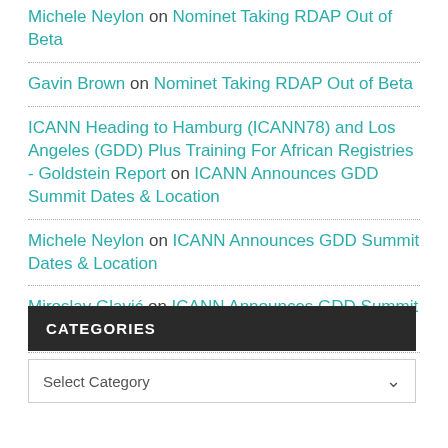Michele Neylon on Nominet Taking RDAP Out of Beta
Gavin Brown on Nominet Taking RDAP Out of Beta
ICANN Heading to Hamburg (ICANN78) and Los Angeles (GDD) Plus Training For African Registries - Goldstein Report on ICANN Announces GDD Summit Dates & Location
Michele Neylon on ICANN Announces GDD Summit Dates & Location
Miroslav Glavić on ICANN Announces GDD Summit Dates & Location
CATEGORIES
Select Category